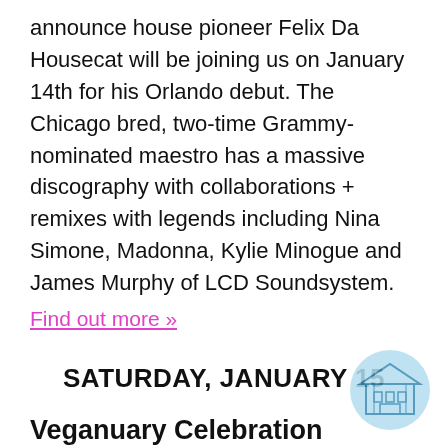announce house pioneer Felix Da Housecat will be joining us on January 14th for his Orlando debut. The Chicago bred, two-time Grammy-nominated maestro has a massive discography with collaborations + remixes with legends including Nina Simone, Madonna, Kylie Minogue and James Murphy of LCD Soundsystem.
Find out more »
SATURDAY, JANUARY 15
Veganuary Celebration Festival
11 a.m.
Persimmon Hollow Brewing Company, 227 N. Echo Drive